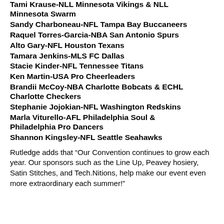Tami Krause-NLL Minnesota Vikings & NLL Minnesota Swarm
Sandy Charboneau-NFL Tampa Bay Buccaneers
Raquel Torres-Garcia-NBA San Antonio Spurs
Alto Gary-NFL Houston Texans
Tamara Jenkins-MLS FC Dallas
Stacie Kinder-NFL Tennessee Titans
Ken Martin-USA Pro Cheerleaders
Brandii McCoy-NBA Charlotte Bobcats & ECHL Charlotte Checkers
Stephanie Jojokian-NFL Washington Redskins
Marla Viturello-AFL Philadelphia Soul & Philadelphia Pro Dancers
Shannon Kingsley-NFL Seattle Seahawks
Rutledge adds that “Our Convention continues to grow each year. Our sponsors such as the Line Up, Peavey hosiery, Satin Stitches, and Tech.Nitions, help make our event even more extraordinary each summer!"